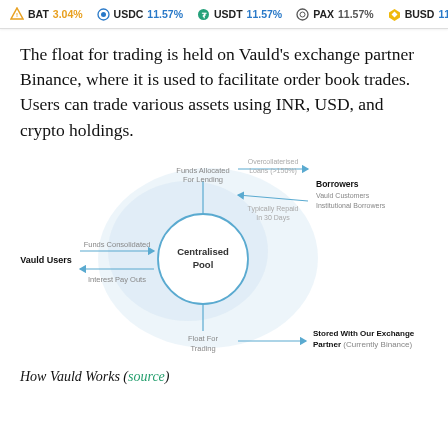BAT 3.04%  USDC 11.57%  USDT 11.57%  PAX 11.57%  BUSD 11.57%
The float for trading is held on Vauld's exchange partner Binance, where it is used to facilitate order book trades. Users can trade various assets using INR, USD, and crypto holdings.
[Figure (flowchart): Diagram showing Vauld's centralised pool mechanism. Vauld Users send funds (Funds Consolidated) into a Centralised Pool. From the pool, Funds Allocated For Lending go to Borrowers (Vauld Customers, Institutional Borrowers) via Overcollaterised Loans (>150%). Borrowers Typically Repay In 30 Days. A Float For Trading goes to Stored With Our Exchange Partner (Currently Binance). Interest Pay Outs flow back to Vauld Users.]
How Vauld Works (source)